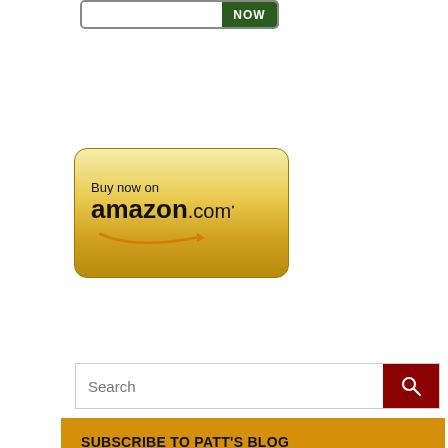[Figure (screenshot): Partial view of a button with dark green 'NOW' section on the right, white left section, rounded border]
[Figure (screenshot): Buy now on amazon.com golden rounded button with Amazon smile arrow logo]
[Figure (screenshot): Search bar with text 'Search' and dark red search icon button on right]
SUBSCRIBE TO PATT'S BLOG
Practical ideas and methods to create a positive, healthy life
Events: hear about upcoming events and opportunities
FREE Mp3 of Patt's binaural sound "Beta Relaxation and Meditation"